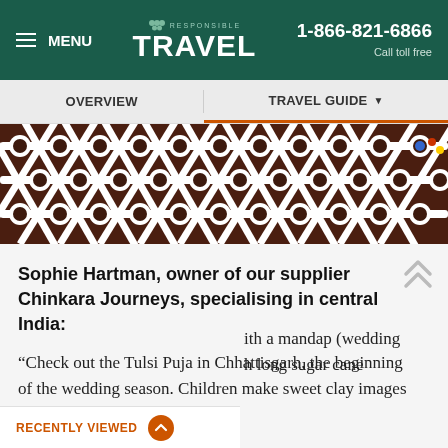MENU | Responsible Travel | 1-866-821-6866 Call toll free
OVERVIEW | TRAVEL GUIDE
[Figure (photo): Close-up photo of white lattice/trellis fence with diamond pattern and circular cutouts, with dark reddish-brown background visible through the openings]
Sophie Hartman, owner of our supplier Chinkara Journeys, specialising in central India:
“Check out the Tulsi Puja in Chhattisgarh, the beginning of the wedding season. Children make sweet clay images of Krishna and Tulsi and their ...ith a mandap (wedding ...h long sugar cane
RECENTLY VIEWED